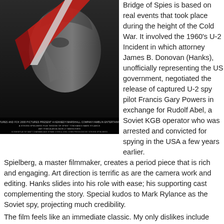[Figure (photo): Movie poster for Bridge of Spies showing a dramatic close-up of a man's face with a red and white graphic element, with film credits at the bottom.]
Bridge of Spies is based on real events that took place during the height of the Cold War. It involved the 1960's U-2 Incident in which attorney James B. Donovan (Hanks), unofficially representing the US government, negotiated the release of captured U-2 spy pilot Francis Gary Powers in exchange for Rudolf Abel, a Soviet KGB operator who was arrested and convicted for spying in the USA a few years earlier.
Spielberg, a master filmmaker, creates a period piece that is rich and engaging. Art direction is terrific as are the camera work and editing. Hanks slides into his role with ease; his supporting cast complementing the story. Special kudos to Mark Rylance as the Soviet spy, projecting much credibility.
The film feels like an immediate classic. My only dislikes include occasional drama-heavy music, and sublime unnecessary notions that called too much attention to themselves, such as the spy, and later on his attorney turned negotiator, having a cold... A little heavy-handled yet still noteworthy is a scene at the later part of the film which reminds us, the audience, the ease with which we take our freedom for granted. It is also interesting to note that the film happened to be released around the same time that the spy Jonathan Pollard was paroled after spending 30 years in jail.